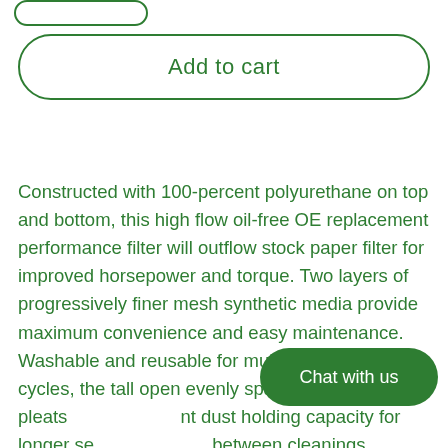[Figure (other): Partial pill-shaped button at top left, green border, white background]
Add to cart
Constructed with 100-percent polyurethane on top and bottom, this high flow oil-free OE replacement performance filter will outflow stock paper filter for improved horsepower and torque. Two layers of progressively finer mesh synthetic media provide maximum convenience and easy maintenance. Washable and reusable for multiple cleaning cycles, the tall open evenly spaced pleats nt dust holding capacity for longer se between cleanings. Integrated urethane bump seal
Chat with us